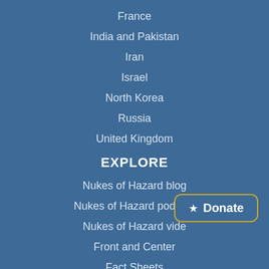France
India and Pakistan
Iran
Israel
North Korea
Russia
United Kingdom
EXPLORE
Nukes of Hazard blog
Nukes of Hazard podcast
Nukes of Hazard video
Front and Center
Fact Sheets
[Figure (other): Donate button with star icon and yellow border]